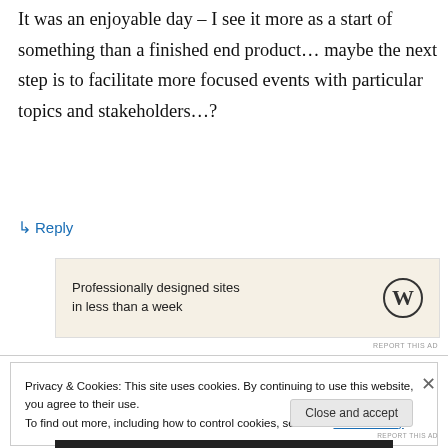It was an enjoyable day – I see it more as a start of something than a finished end product… maybe the next step is to facilitate more focused events with particular topics and stakeholders…?
↳ Reply
[Figure (other): WordPress advertisement banner with text 'Professionally designed sites in less than a week' and WordPress logo]
REPORT THIS AD
Privacy & Cookies: This site uses cookies. By continuing to use this website, you agree to their use. To find out more, including how to control cookies, see here: Cookie Policy
Close and accept